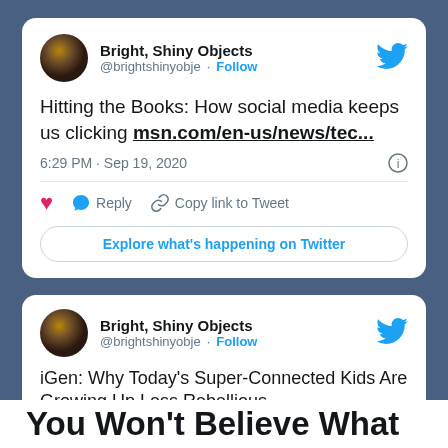[Figure (screenshot): Screenshot of a Twitter/social media card for 'Bright, Shiny Objects' (@brightshinyobje) with tweet text: 'Hitting the Books: How social media keeps us clicking msn.com/en-us/news/tec...' posted at 6:29 PM · Sep 19, 2020, with heart, reply, copy link actions and an 'Explore what's happening on Twitter' button.]
[Figure (screenshot): Partial screenshot of a second Twitter card for 'Bright, Shiny Objects' (@brightshinyobje) with tweet text beginning: 'iGen: Why Today's Super-Connected Kids Are Growing Up Less Rebellious...']
You Won't Believe What